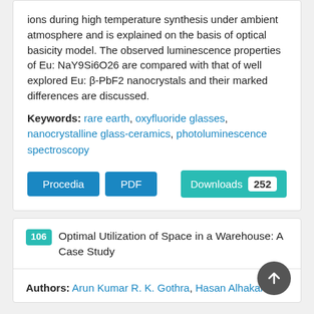ions during high temperature synthesis under ambient atmosphere and is explained on the basis of optical basicity model. The observed luminescence properties of Eu: NaY9Si6O26 are compared with that of well explored Eu: β-PbF2 nanocrystals and their marked differences are discussed.
Keywords: rare earth, oxyfluoride glasses, nanocrystalline glass-ceramics, photoluminescence spectroscopy
Procedia | PDF | Downloads 252
106 Optimal Utilization of Space in a Warehouse: A Case Study
Authors: Arun Kumar R. K. Gothra, Hasan Alhakamy